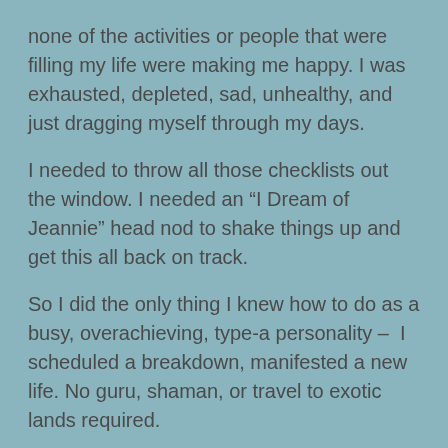none of the activities or people that were filling my life were making me happy. I was exhausted, depleted, sad, unhealthy, and just dragging myself through my days.
I needed to throw all those checklists out the window. I needed an “I Dream of Jeannie” head nod to shake things up and get this all back on track.
So I did the only thing I knew how to do as a busy, overachieving, type-a personality –  I scheduled a breakdown, manifested a new life. No guru, shaman, or travel to exotic lands required.
Now through my speaking events and courses, I help people just like you turn burnout into breakthroughs.  Let me show you how.